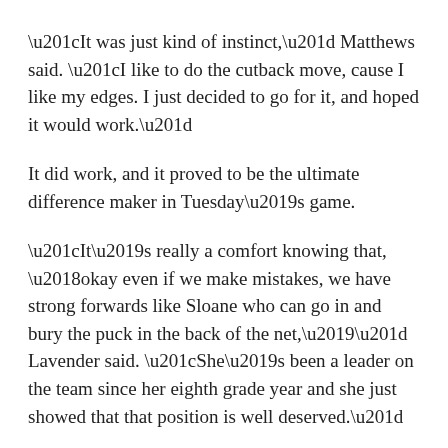“It was just kind of instinct,” Matthews said. “I like to do the cutback move, cause I like my edges. I just decided to go for it, and hoped it would work.”
It did work, and it proved to be the ultimate difference maker in Tuesday’s game.
“It’s really a comfort knowing that, ‘okay even if we make mistakes, we have strong forwards like Sloane who can go in and bury the puck in the back of the net,’” Lavender said. “She’s been a leader on the team since her eighth grade year and she just showed that that position is well deserved.”
After five games to start the year, Matthews has 7 goals and 6 assists. A fast start that coincides with the team’s